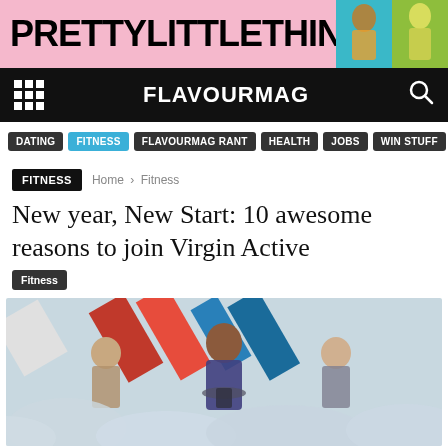[Figure (photo): PrettyLittleThing advertisement banner with pink background showing logo and two models]
FLAVOURMAG
DATING
FITNESS
FLAVOURMAG RANT
HEALTH
JOBS
WIN STUFF
FITNESS
Home › Fitness
New year, New Start: 10 awesome reasons to join Virgin Active
Fitness
[Figure (photo): Three people riding spin bikes in a gym class with colorful geometric background and smoke/cloud effects]